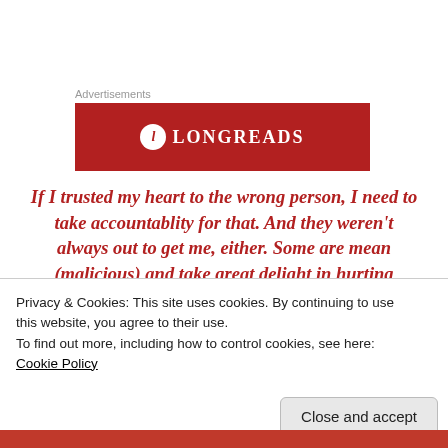Advertisements
[Figure (logo): Longreads logo banner — dark red background with white circular emblem containing letter L and text LONGREADS in white serif capital letters]
If I trusted my heart to the wrong person, I need to take accountablity for that. And they weren't always out to get me, either. Some are mean (malicious) and take great delight in hurting others. Some do not think it through, or pray about what they say. Every
Privacy & Cookies: This site uses cookies. By continuing to use this website, you agree to their use.
To find out more, including how to control cookies, see here: Cookie Policy
Close and accept